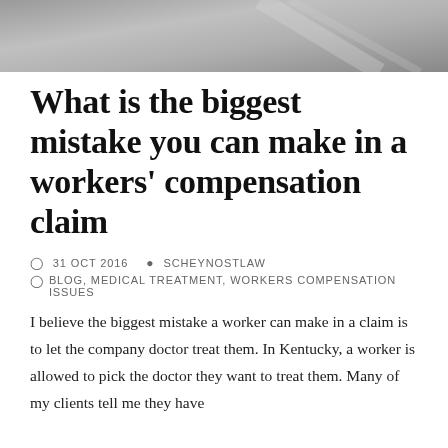[Figure (photo): Gray decorative header image with diagonal fabric or surface texture]
What is the biggest mistake you can make in a workers' compensation claim
31 OCT 2016   SCHEYNOSTLAW   BLOG, MEDICAL TREATMENT, WORKERS COMPENSATION ISSUES
I believe the biggest mistake a worker can make in a claim is to let the company doctor treat them. In Kentucky, a worker is allowed to pick the doctor they want to treat them. Many of my clients tell me they have